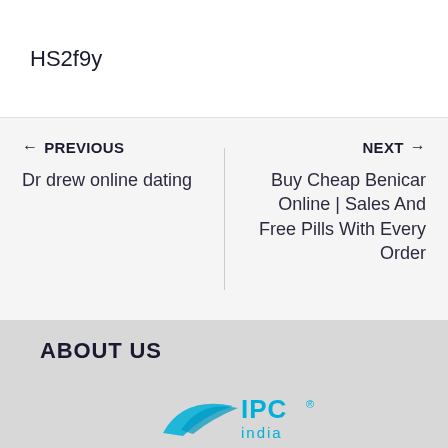HS2f9y
← PREVIOUS
Dr drew online dating
NEXT →
Buy Cheap Benicar Online | Sales And Free Pills With Every Order
ABOUT US
[Figure (logo): IPC India logo with cyan/blue swoosh graphic]